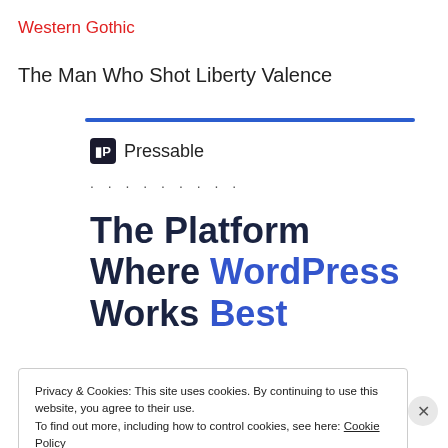Western Gothic
The Man Who Shot Liberty Valence
[Figure (logo): Blue horizontal rule followed by Pressable logo icon and name, with dotted line below]
The Platform Where WordPress Works Best
Privacy & Cookies: This site uses cookies. By continuing to use this website, you agree to their use.
To find out more, including how to control cookies, see here: Cookie Policy
[Close and accept]